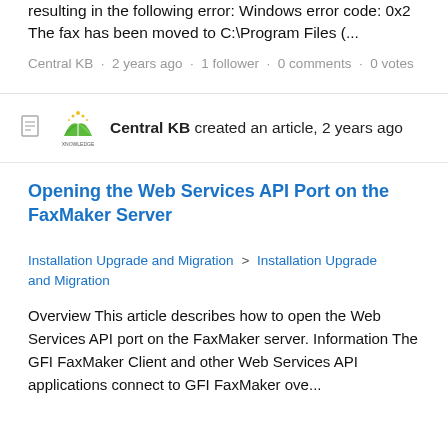resulting in the following error: Windows error code: 0x2 The fax has been moved to C:\Program Files (...
Central KB · 2 years ago · 1 follower · 0 comments · 0 votes
Central KB created an article, 2 years ago
Opening the Web Services API Port on the FaxMaker Server
Installation Upgrade and Migration > Installation Upgrade and Migration
Overview This article describes how to open the Web Services API port on the FaxMaker server. Information The GFI FaxMaker Client and other Web Services API applications connect to GFI FaxMaker ove...